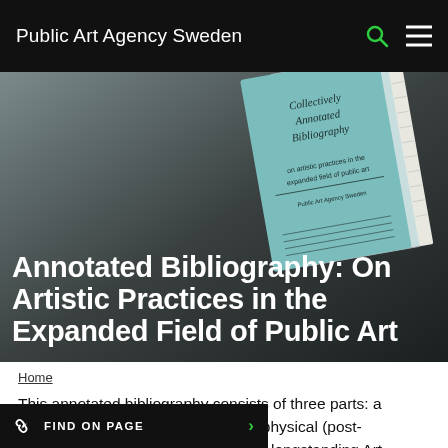Public Art Agency Sweden
[Figure (screenshot): Hero banner with a book titled 'Collectively Annotated Bibliography' against a dark gradient background]
Annotated Bibliography: On Artistic Practices in the Expanded Field of Public Art
Home
This annotated bibliography consists of three parts: a publication, a digital platform and a physical (post-pandemic) library. It is the result of a longstanding Art Agency Sweden (as a issues of knowledge production
FIND ON PAGE